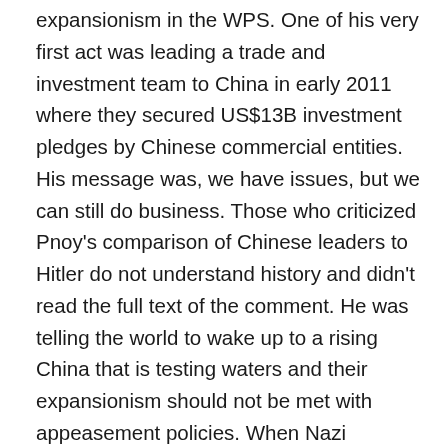expansionism in the WPS. One of his very first act was leading a trade and investment team to China in early 2011 where they secured US$13B investment pledges by Chinese commercial entities. His message was, we have issues, but we can still do business. Those who criticized Pnoy's comparison of Chinese leaders to Hitler do not understand history and didn't read the full text of the comment. He was telling the world to wake up to a rising China that is testing waters and their expansionism should not be met with appeasement policies. When Nazi Germany was testing waters, even when they took over Poland and Austria, the international community was still trying to appease Hitler. In any case, when the Philippines has launched a case against China at the UN, was he expected to say China is a goody-two-shoes? Whilst Pnoy was drumming up regional and international support for